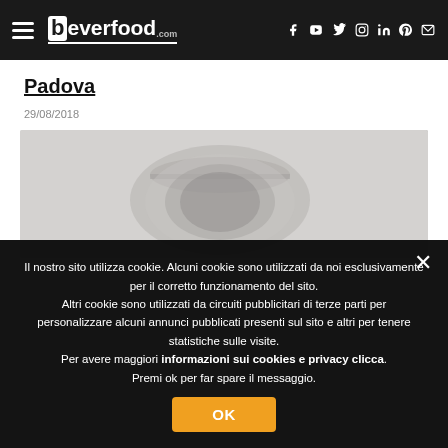beverfood.com
Padova
29/08/2018
[Figure (photo): Close-up photo of a jar or container, partially visible, with blurred background in light grey tones]
Il nostro sito utilizza cookie. Alcuni cookie sono utilizzati da noi esclusivamente per il corretto funzionamento del sito.
Altri cookie sono utilizzati da circuiti pubblicitari di terze parti per personalizzare alcuni annunci pubblicati presenti sul sito e altri per tenere statistiche sulle visite.
Per avere maggiori informazioni sui cookies e privacy clicca.
Premi ok per far spare il messaggio.